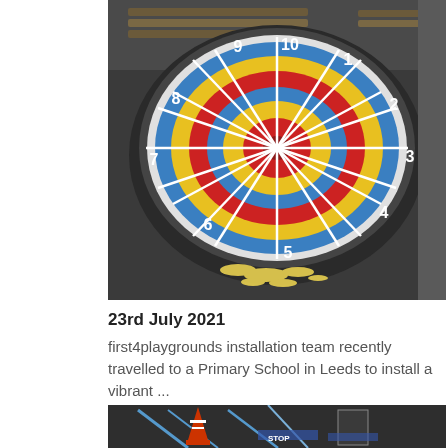[Figure (photo): A colourful dartboard-style playground marking painted on a dark tarmac surface at a primary school. The circular design features concentric rings in red, yellow and blue with white dividing lines and numbers 1 through 10 around the outside. Wooden benches are visible in the background.]
23rd July 2021
first4playgrounds installation team recently travelled to a Primary School in Leeds to install a vibrant ...
[Figure (photo): Partial view of another playground marking installation showing road marking designs on dark tarmac with blue and white painted elements.]